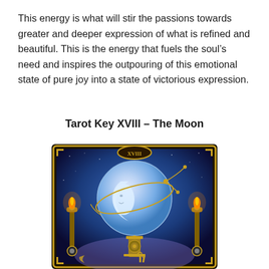This energy is what will stir the passions towards greater and deeper expression of what is refined and beautiful. This is the energy that fuels the soul’s need and inspires the outpouring of this emotional state of pure joy into a state of victorious expression.
Tarot Key XVIII – The Moon
[Figure (illustration): Tarot card XVIII - The Moon, depicting a large glowing blue sphere with a crescent moon face, ornate golden mechanical frame with decorative flourishes, two torches on either side, set against a night sky with stars]